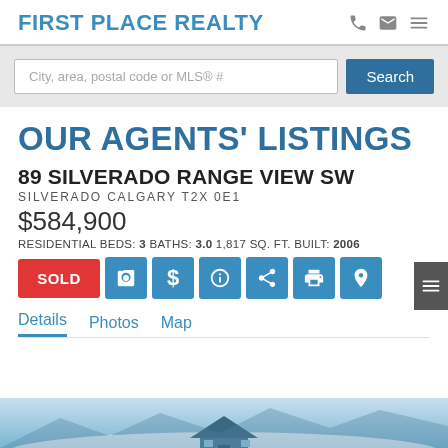FIRST PLACE REALTY
City, area, postal code or MLS® #
OUR AGENTS' LISTINGS
89 SILVERADO RANGE VIEW SW
SILVERADO CALGARY T2X 0E1
$584,900
RESIDENTIAL BEDS: 3 BATHS: 3.0 1,817 SQ. FT. BUILT: 2006
SOLD
Details  Photos  Map
[Figure (photo): Partial view of a house exterior with snowy/winter background, blue sky]